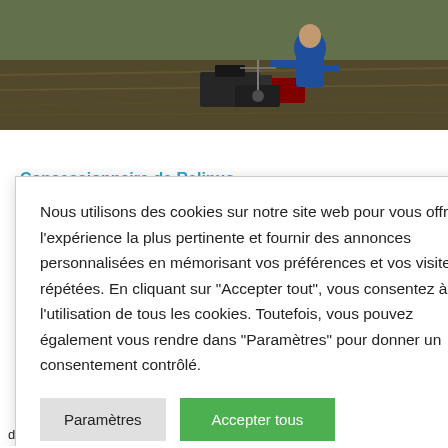[Figure (photo): Person in blue jacket working outdoors in a field with equipment, aerial/drone related gear visible]
Concessionnaire de Relinus
Nous utilisons des cookies sur notre site web pour vous offrir l'expérience la plus pertinente et fournir des annonces personnalisées en mémorisant vos préférences et vos visites répétées. En cliquant sur "Accepter tout", vous consentez à l'utilisation de tous les cookies. Toutefois, vous pouvez également vous rendre dans "Paramètres" pour donner un consentement contrôlé.
à développer leur puissante et fiable n simple de sir les opportunités
e central dans stallation et onnaires d'installation reçoivent de superbes prix, des primes de fidélité et